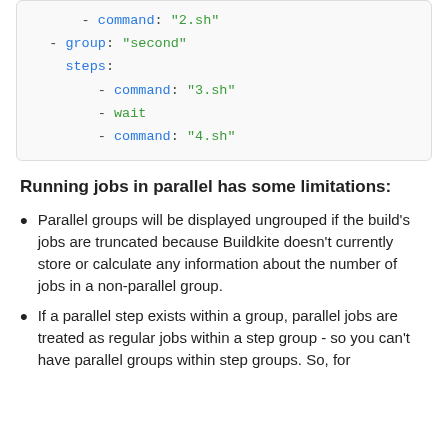[Figure (screenshot): Code block showing YAML configuration with group 'second' containing steps with commands 3.sh, wait, and 4.sh]
Running jobs in parallel has some limitations:
Parallel groups will be displayed ungrouped if the build's jobs are truncated because Buildkite doesn't currently store or calculate any information about the number of jobs in a non-parallel group.
If a parallel step exists within a group, parallel jobs are treated as regular jobs within a step group - so you can't have parallel groups within step groups. So, for